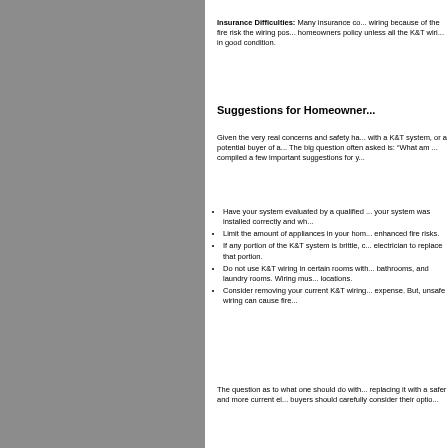Insurance Difficulties: Many insurance co... wiring because of the fire risk the wiring pos... homeowners policy unless all the K&T wiri... in good condition.
Suggestions for Homeowner...
Given the very real concerns and safety ha... with a K&T system, or a potential buyer of a... The big question often asked is: “What am ... compiled a few important suggestions for y...
Have your system evaluated by a qualified ... your system was installed correctly and wh...
Limit the amount of appliances in your hom... enhanced fire risks.
If any portion of the K&T system is brittle, c... electrician to replace that portion.
Do not use K&T wiring in certain rooms with... bathrooms, and laundry rooms. Wiring mus... locations.
Consider removing your current K&T wiring... expense. But, unsafe wiring can cause fire...
The question as to what one should do with... replacing it with a safer and more current el... buyers should carefully consider their optio...